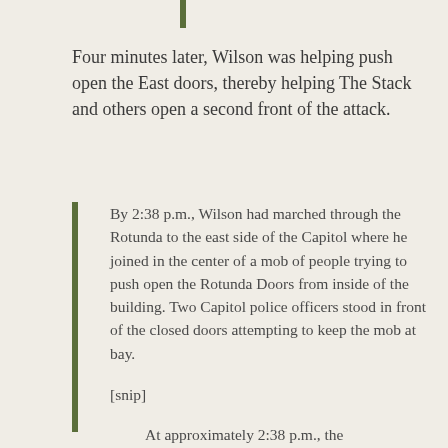Four minutes later, Wilson was helping push open the East doors, thereby helping The Stack and others open a second front of the attack.
By 2:38 p.m., Wilson had marched through the Rotunda to the east side of the Capitol where he joined in the center of a mob of people trying to push open the Rotunda Doors from inside of the building. Two Capitol police officers stood in front of the closed doors attempting to keep the mob at bay.
[snip]